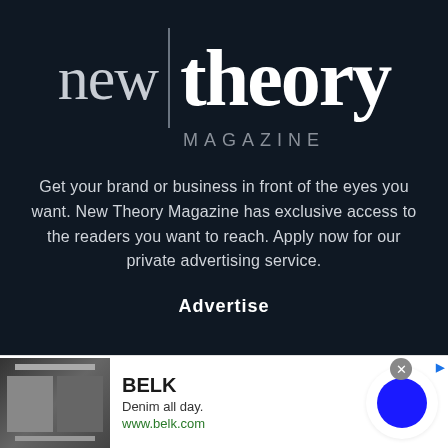[Figure (logo): New Theory Magazine logo: 'new | theory' in serif font with a vertical divider, and 'MAGAZINE' in spaced uppercase below]
Get your brand or business in front of the eyes you want. New Theory Magazine has exclusive access to the readers you want to reach. Apply now for our private advertising service.
Advertise
[Figure (screenshot): BELK advertisement banner: shows magazine image thumbnails on left, 'BELK' brand name, tagline 'Denim all day.', URL www.belk.com, and a blue circle graphic on right]